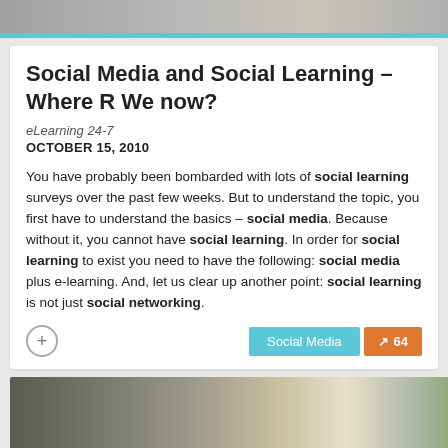[Figure (photo): Top banner photo of a person, partially cropped, with a light blue bar at the bottom]
Social Media and Social Learning – Where R We now?
eLearning 24-7
OCTOBER 15, 2010
You have probably been bombarded with lots of social learning surveys over the past few weeks. But to understand the topic, you first have to understand the basics – social media. Because without it, you cannot have social learning. In order for social learning to exist you need to have the following: social media plus e-learning. And, let us clear up another point: social learning is not just social networking.
[Figure (photo): Bottom photo showing a man in profile at a desk with plants and a water bottle in a bright office setting]